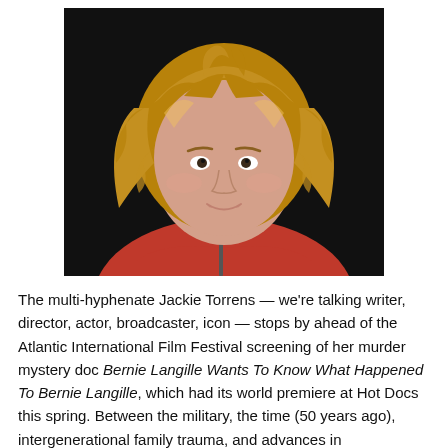[Figure (photo): Headshot of Jackie Torrens, a woman with curly reddish-blonde hair and bangs, wearing a red zip-up hoodie, photographed against a dark background.]
The multi-hyphenate Jackie Torrens — we're talking writer, director, actor, broadcaster, icon — stops by ahead of the Atlantic International Film Festival screening of her murder mystery doc Bernie Langille Wants To Know What Happened To Bernie Langille, which had its world premiere at Hot Docs this spring. Between the military, the time (50 years ago), intergenerational family trauma, and advances in